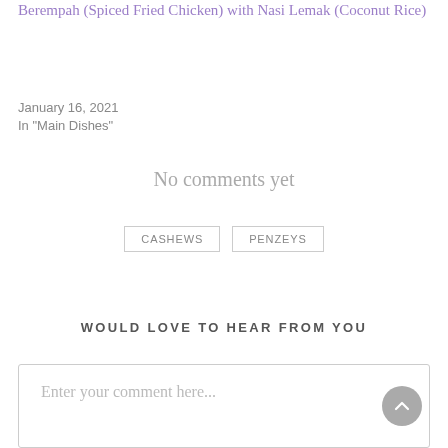Berempah (Spiced Fried Chicken) with Nasi Lemak (Coconut Rice)
January 16, 2021
In "Main Dishes"
No comments yet
CASHEWS
PENZEYS
WOULD LOVE TO HEAR FROM YOU
Enter your comment here...